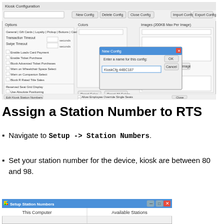[Figure (screenshot): Kiosk Configuration dialog window screenshot showing various configuration options tabs, colors, image settings, and a 'New Config' dialog popup with an input field showing 'KioskCfg 44BC187', plus OK and Cancel buttons.]
Assign a Station Number to RTS
Navigate to Setup -> Station Numbers.
Set your station number for the device, kiosk are between 80 and 98.
[Figure (screenshot): Setup Station Numbers dialog window showing 'This Computer' and 'Available Stations' columns at the bottom of the page.]